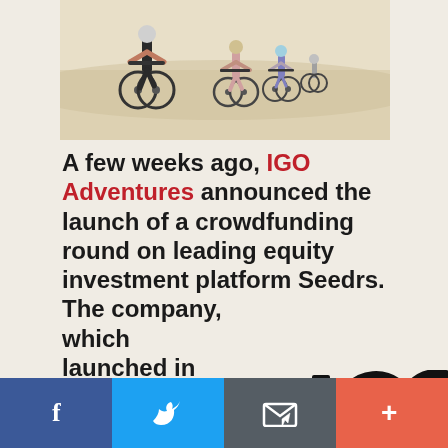[Figure (photo): Three cyclists riding mountain bikes across a sandy desert landscape, viewed from behind.]
A few weeks ago, IGO Adventures announced the launch of a crowdfunding round on leading equity investment platform Seedrs. The company, which launched in 2016, takes groups of people into the wilderness to disconnect from the
[Figure (logo): IGO logo in large bold black letters]
Facebook | Twitter | Email | Plus